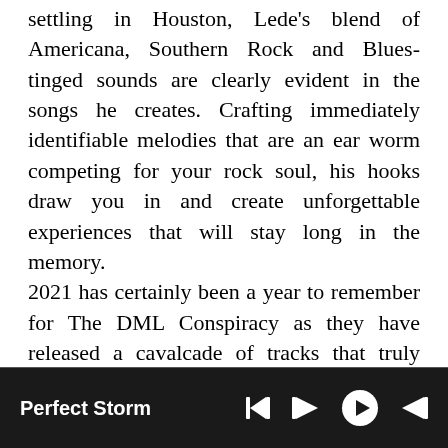settling in Houston, Lede's blend of Americana, Southern Rock and Blues-tinged sounds are clearly evident in the songs he creates. Crafting immediately identifiable melodies that are an ear worm competing for your rock soul, his hooks draw you in and create unforgettable experiences that will stay long in the memory.

2021 has certainly been a year to remember for The DML Conspiracy as they have released a cavalcade of tracks that truly defies expectations. Lede has certainly given his music the freedom to speak for itself and is proud of the work they have achieved so far. “There is a definite maturity to the newer
Perfect Storm